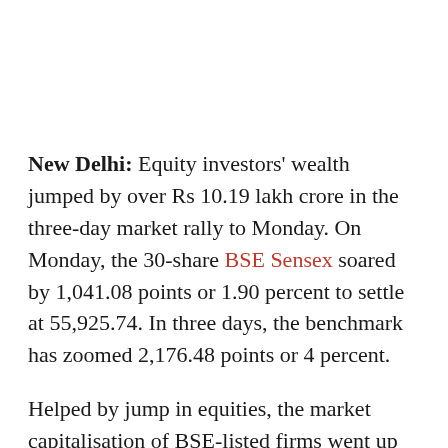New Delhi: Equity investors' wealth jumped by over Rs 10.19 lakh crore in the three-day market rally to Monday. On Monday, the 30-share BSE Sensex soared by 1,041.08 points or 1.90 percent to settle at 55,925.74. In three days, the benchmark has zoomed 2,176.48 points or 4 percent.
Helped by jump in equities, the market capitalisation of BSE-listed firms went up by Rs 10,19,936.84 crore to Rs 2,58,47,092.40 crore in three days.